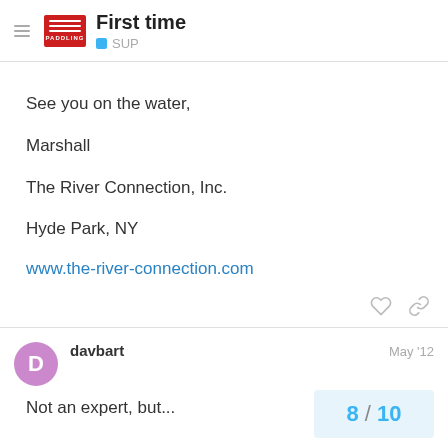First time | SUP
See you on the water,
Marshall
The River Connection, Inc.
Hyde Park, NY
www.the-river-connection.com
davbart  May '12
Not an expert, but...